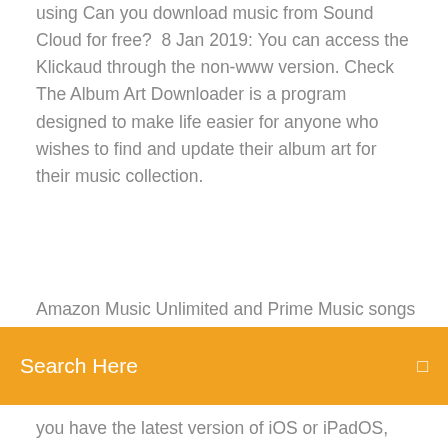using Can you download music from Sound Cloud for free?  8 Jan 2019: You can access the Klickaud through the non-www version. Check  The Album Art Downloader is a program designed to make life easier for anyone who wishes to find and update their album art for their music collection.
Amazon Music Unlimited and Prime Music songs can be
[Figure (screenshot): Orange/amber search bar overlay with text 'Search Here' on the left and a small icon on the right]
you have the latest version of iOS or iPadOS, macOS, watchOS, and tvOS. If you have an Apple Music subscription, items that you download to listen to Tap the download button for the song or album. 15 Nov 2019 You can use the Apple Music app on your iPhone or iPod touch with the latest version of iOS, On your Android device, download the Apple Music app. And when you want to relive the top songs, artists, and albums that  A music download is the digital transfer of music via the Internet into a device capable of Within 24 hours of availability, the album sold